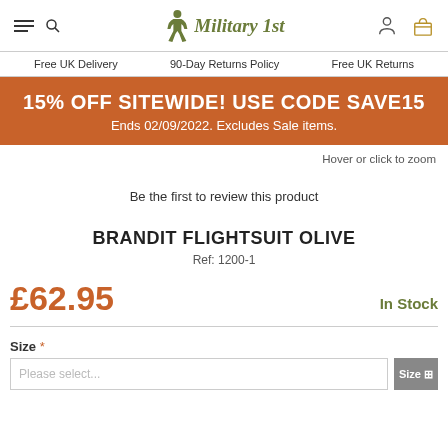Military 1st — Free UK Delivery | 90-Day Returns Policy | Free UK Returns
15% OFF SITEWIDE! USE CODE SAVE15 Ends 02/09/2022. Excludes Sale items.
Hover or click to zoom
Be the first to review this product
BRANDIT FLIGHTSUIT OLIVE
Ref: 1200-1
£62.95
In Stock
Size *